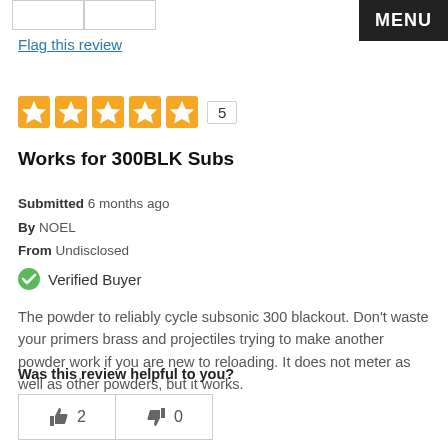Flag this review
[Figure (other): Five orange star rating boxes with number 5 in a bordered box]
Works for 300BLK Subs
Submitted 6 months ago
By NOEL
From Undisclosed
Verified Buyer
The powder to reliably cycle subsonic 300 blackout. Don't waste your primers brass and projectiles trying to make another powder work if you are new to reloading. It does not meter as well as other powders, but it works.
Was this review helpful to you?
[Figure (other): Thumbs up button with count 2 and thumbs down button with count 0]